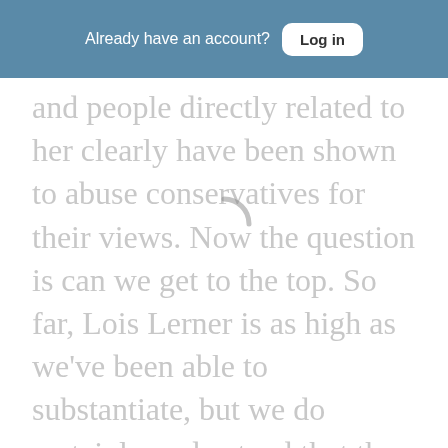Already have an account? Log in
and people directly related to her clearly have been shown to abuse conservatives for their views. Now the question is can we get to the top. So far, Lois Lerner is as high as we've been able to substantiate, but we do certainly understand that the IRS commissioners knew or should have